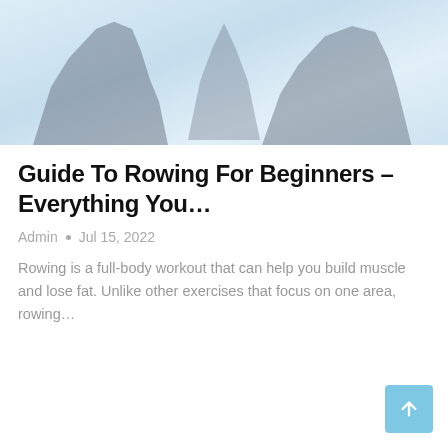[Figure (photo): A light blue-tinted photograph showing silhouettes of person(s) rowing on a rowing machine, with a blurred/faded background]
Guide To Rowing For Beginners – Everything You…
Admin  •  Jul 15, 2022
Rowing is a full-body workout that can help you build muscle and lose fat. Unlike other exercises that focus on one area, rowing…